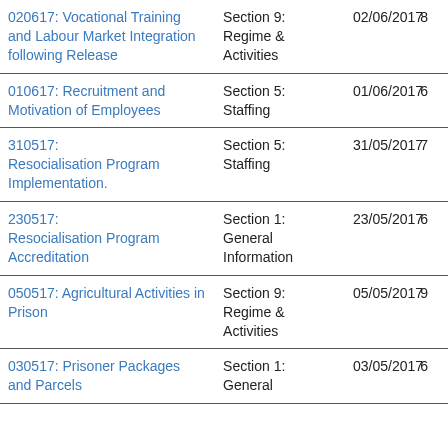| Title | Section | Date | Pages |
| --- | --- | --- | --- |
| 020617: Vocational Training and Labour Market Integration following Release | Section 9: Regime & Activities | 02/06/2017 | 8 |
| 010617: Recruitment and Motivation of Employees | Section 5: Staffing | 01/06/2017 | 6 |
| 310517: Resocialisation Program Implementation. | Section 5: Staffing | 31/05/2017 | 7 |
| 230517: Resocialisation Program Accreditation | Section 1: General Information | 23/05/2017 | 6 |
| 050517: Agricultural Activities in Prison | Section 9: Regime & Activities | 05/05/2017 | 9 |
| 030517: Prisoner Packages and Parcels | Section 1: General | 03/05/2017 | 6 |